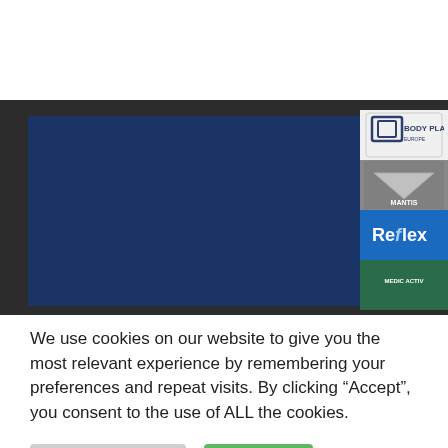[Figure (screenshot): Website header showing a dark blue panel with a white globe/web icon and 'Web Support' text. Right sidebar shows four brand logos: Body Plaza Europe, Mantis, Reflex, and Medic Activ.]
We use cookies on our website to give you the most relevant experience by remembering your preferences and repeat visits. By clicking “Accept”, you consent to the use of ALL the cookies.
Cookie Settings
Accept